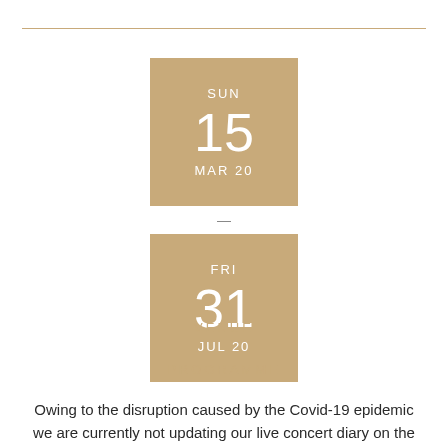[Figure (other): Date range display: SUN 15 MAR 20 to FRI 31 JUL 20, shown as two tan/gold calendar blocks with a dash separator between them]
VENUE
PROGRAMME
Owing to the disruption caused by the Covid-19 epidemic we are currently not updating our live concert diary on the